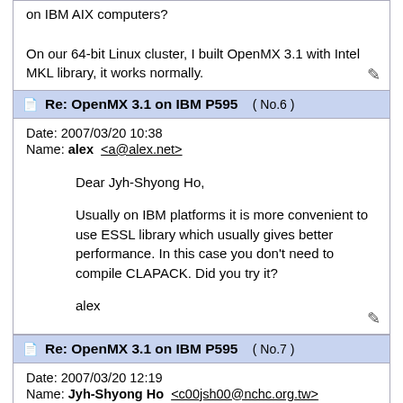on IBM AIX computers?

On our 64-bit Linux cluster, I built OpenMX 3.1 with Intel MKL library, it works normally.
Re: OpenMX 3.1 on IBM P595 ( No.6 )
Date: 2007/03/20 10:38
Name: alex  <a@alex.net>
Dear Jyh-Shyong Ho,

Usually on IBM platforms it is more convenient to use ESSL library which usually gives better performance. In this case you don't need to compile CLAPACK. Did you try it?

alex
Re: OpenMX 3.1 on IBM P595 ( No.7 )
Date: 2007/03/20 12:19
Name: Jyh-Shyong Ho  <c00jsh00@nchc.org.tw>